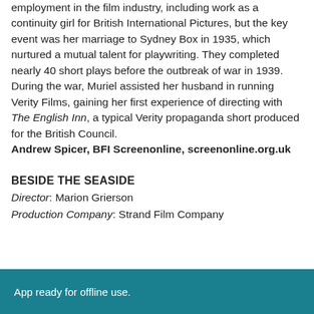employment in the film industry, including work as a continuity girl for British International Pictures, but the key event was her marriage to Sydney Box in 1935, which nurtured a mutual talent for playwriting. They completed nearly 40 short plays before the outbreak of war in 1939. During the war, Muriel assisted her husband in running Verity Films, gaining her first experience of directing with The English Inn, a typical Verity propaganda short produced for the British Council.
Andrew Spicer, BFI Screenonline, screenonline.org.uk
BESIDE THE SEASIDE
Director: Marion Grierson
Production Company: Strand Film Company
App ready for offline use.